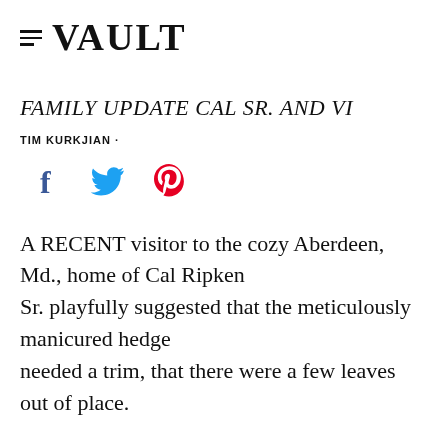≡ VAULT
FAMILY UPDATE CAL SR. AND VI
TIM KURKJIAN ·
[Figure (other): Social media share icons: Facebook (f), Twitter (bird), Pinterest (P) in blue, blue, and red respectively]
A RECENT visitor to the cozy Aberdeen, Md., home of Cal Ripken Sr. playfully suggested that the meticulously manicured hedge needed a trim, that there were a few leaves out of place.